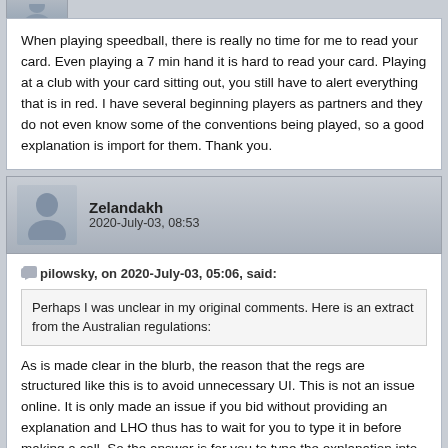When playing speedball, there is really no time for me to read your card. Even playing a 7 min hand it is hard to read your card. Playing at a club with your card sitting out, you still have to alert everything that is in red. I have several beginning players as partners and they do not even know some of the conventions being played, so a good explanation is import for them. Thank you.
Zelandakh
2020-July-03, 08:53
pilowsky, on 2020-July-03, 05:06, said:
Perhaps I was unclear in my original comments. Here is an extract from the Australian regulations:
As is made clear in the blurb, the reason that the regs are structured like this is to avoid unnecessary UI. This is not an issue online. It is only made an issue if you bid without providing an explanation and LHO thus has to wait for you to type it in before making a call. So the answer is for you to type the explanation into the alert box yourself before you make the call. This is a key difference between online